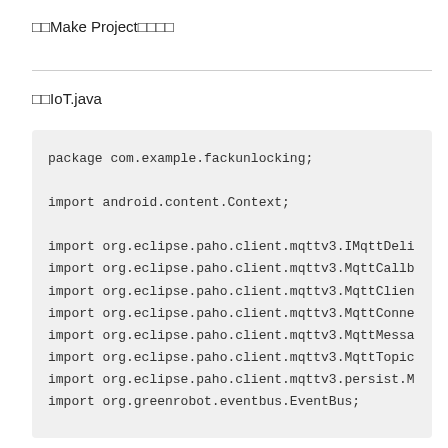Make Project之后
新建IoT.java
package com.example.fackunlocking;

import android.content.Context;

import org.eclipse.paho.client.mqttv3.IMqttDeli
import org.eclipse.paho.client.mqttv3.MqttCallb
import org.eclipse.paho.client.mqttv3.MqttClien
import org.eclipse.paho.client.mqttv3.MqttConne
import org.eclipse.paho.client.mqttv3.MqttMessa
import org.eclipse.paho.client.mqttv3.MqttTopic
import org.eclipse.paho.client.mqttv3.persist.M
import org.greenrobot.eventbus.EventBus;